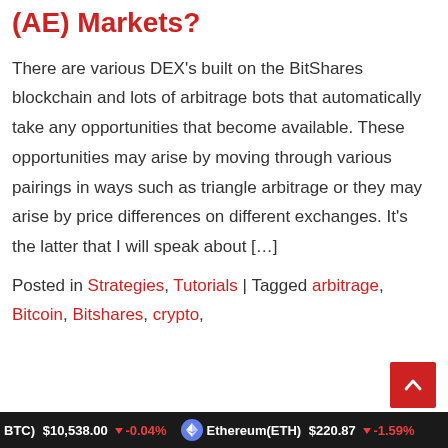(AE) Markets?
There are various DEX’s built on the BitShares blockchain and lots of arbitrage bots that automatically take any opportunities that become available. These opportunities may arise by moving through various pairings in ways such as triangle arbitrage or they may arise by price differences on different exchanges. It’s the latter that I will speak about […]
Posted in Strategies, Tutorials | Tagged arbitrage, Bitcoin, Bitshares, crypto,
Bitcoin(BTC) $10,538.00 ↓ -0.04% | Ethereum(ETH) $220.87 ↓ -1.59%